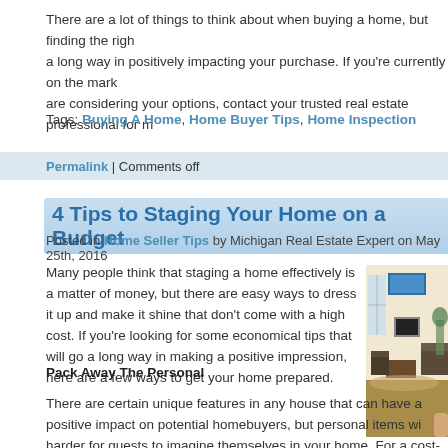There are a lot of things to think about when buying a home, but finding the right … a long way in positively impacting your purchase. If you're currently on the market … are considering your options, contact your trusted real estate professional for m…
Tags: Buying A Home, Home Buyer Tips, Home Inspection
Permalink | Comments off
4 Tips to Staging Your Home on a Budget
Posted in Home Seller Tips by Michigan Real Estate Expert on May 25th, 2016
Many people think that staging a home effectively is a matter of money, but there are easy ways to dress it up and make it shine that don't come with a high cost. If you're looking for some economical tips that will go a long way in making a positive impression, here are a few ways to get your home prepared.
[Figure (photo): Interior living room photo showing staged home with sofa, chairs, coffee table, fireplace, and artwork on wall]
Pack Away The Personal
There are certain unique features in any house that can have a positive impact on potential homebuyers, but personal items wi… harder for guests to imagine themselves in your home. For a cost-free save, en… away personal mementos and pictures so that guests aren't distracted by the d…